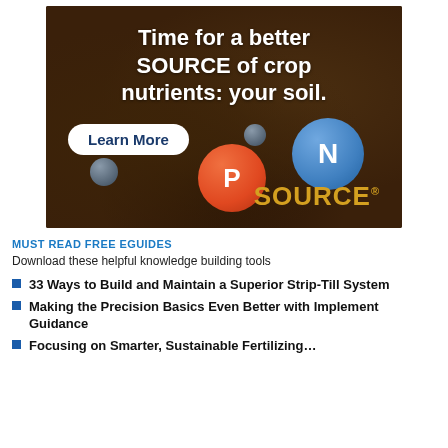[Figure (illustration): Advertisement image with dark soil background. White bold headline reads 'Time for a better SOURCE of crop nutrients: your soil.' A white rounded button says 'Learn More'. Three spheres: small gray, large orange with 'P', large blue with 'N'. Gold text 'SOURCE' in lower right.]
MUST READ FREE EGUIDES
Download these helpful knowledge building tools
33 Ways to Build and Maintain a Superior Strip-Till System
Making the Precision Basics Even Better with Implement Guidance
Focusing on Smarter, Sustainable Fertilizing…